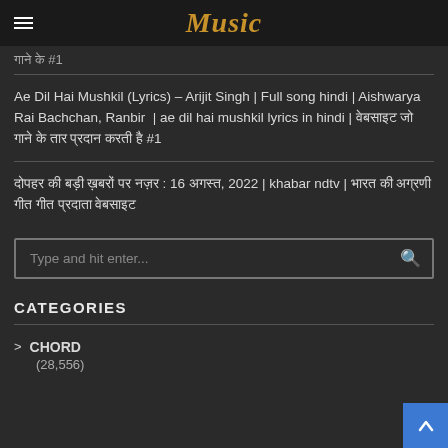Music
गाने के #1
Ae Dil Hai Mushkil (Lyrics) – Arijit Singh | Full song hindi | Aishwarya Rai Bachchan, Ranbir | ae dil hai mushkil lyrics in hindi | वेबसाइट जो गाने के तार प्रदान करती है #1
दोपहर की बड़ी ख़बरों पर नज़र : 16 अगस्त, 2022 | khabar ndtv | भारत की अग्रणी गीत गीत प्रदाता वेबसाइट
Type and hit enter...
CATEGORIES
> CHORD
(28,556)